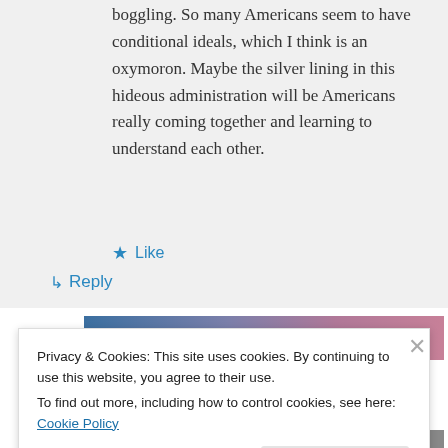boggling. So many Americans seem to have conditional ideals, which I think is an oxymoron. Maybe the silver lining in this hideous administration will be Americans really coming together and learning to understand each other.
★ Like
↳ Reply
[Figure (other): Gradient color bar from blue-grey on the left to pink/mauve on the right]
Privacy & Cookies: This site uses cookies. By continuing to use this website, you agree to their use.
To find out more, including how to control cookies, see here: Cookie Policy
Close and accept
[Figure (other): Partial colored bar at the bottom, red/orange on left, black in center, lighter on right]